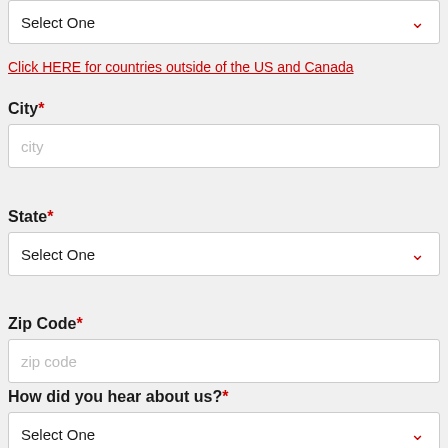Select One (dropdown)
Click HERE for countries outside of the US and Canada
City*
city (placeholder)
State*
Select One (dropdown)
Zip Code*
zip code (placeholder)
How did you hear about us?*
Select One (dropdown)